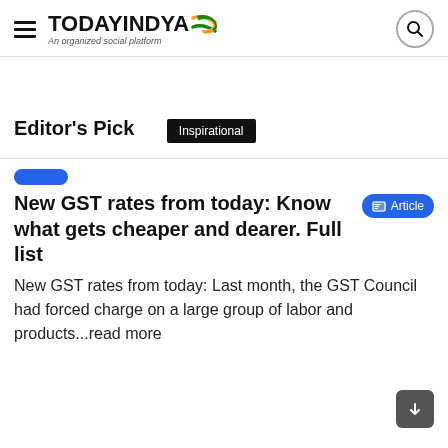TODAYINDYA - An organized social platform
Editor's Pick
Inspirational
New GST rates from today: Know what gets cheaper and dearer. Full list
New GST rates from today: Last month, the GST Council had forced charge on a large group of labor and products...read more